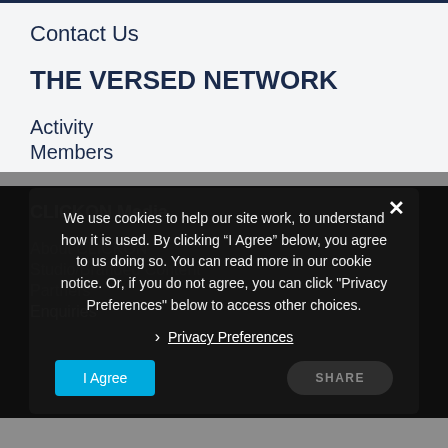Contact Us
THE VERSED NETWORK
Activity
Members
CLICKON Media
About CLICKON
Studio/Branded Content
Partners
Enquiries
We use cookies to help our site work, to understand how it is used. By clicking “I Agree” below, you agree to us doing so. You can read more in our cookie notice. Or, if you do not agree, you can click "Privacy Preferences" below to access other choices.
› Privacy Preferences
I Agree
SHARE